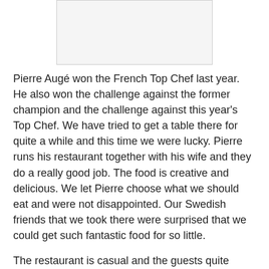[Figure (photo): Photo placeholder at top of page]
Pierre Augé won the French Top Chef last year. He also won the challenge against the former champion and the challenge against this year's Top Chef. We have tried to get a table there for quite a while and this time we were lucky. Pierre runs his restaurant together with his wife and they do a really good job. The food is creative and delicious. We let Pierre choose what we should eat and were not disappointed. Our Swedish friends that we took there were surprised that we could get such fantastic food for so little.
The restaurant is casual and the guests quite young. The service is friendly and efficient. After the meal Pierre come to every table and ask if we are satisfied. Quite a few wants to have a picture with the chef and some even ask for an autograph. A Top Chef in France can be compared to a star in football or other sport in the rest of the world.
If you want to visit the restaurant you have better reserve a table at least 6 weeks in advance.